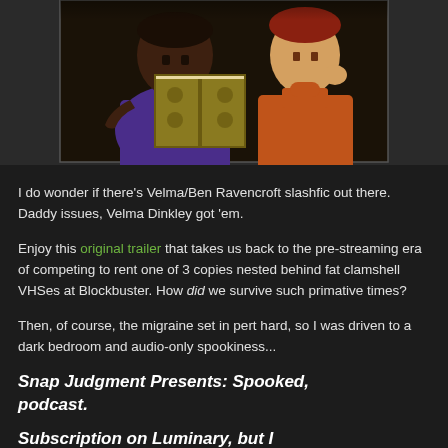[Figure (illustration): Cartoon animation still showing two characters reading a book together — one in purple/blue clothing and one in orange, both looking at an open book with decorative cover.]
I do wonder if there's Velma/Ben Ravencroft slashfic out there. Daddy issues, Velma Dinkley got 'em.
Enjoy this original trailer that takes us back to the pre-streaming era of competing to rent one of 3 copies nested behind fat clamshell VHSes at Blockbuster. How did we survive such primative times?
Then, of course, the migraine set in pert hard, so I was driven to a dark bedroom and audio-only spookiness...
Snap Judgment Presents: Spooked, podcast.
Subscription on Luminary, but I